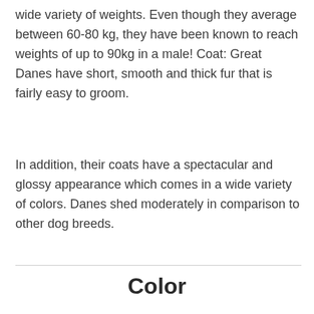wide variety of weights. Even though they average between 60-80 kg, they have been known to reach weights of up to 90kg in a male! Coat: Great Danes have short, smooth and thick fur that is fairly easy to groom.
In addition, their coats have a spectacular and glossy appearance which comes in a wide variety of colors. Danes shed moderately in comparison to other dog breeds.
Color